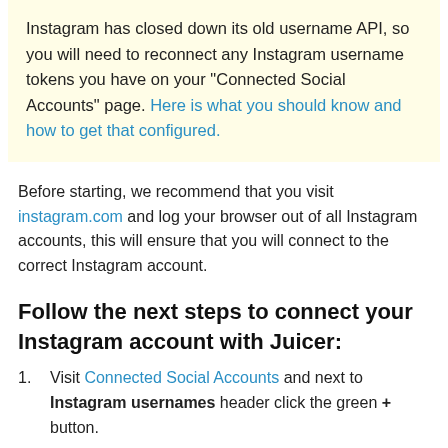Instagram has closed down its old username API, so you will need to reconnect any Instagram username tokens you have on your "Connected Social Accounts" page. Here is what you should know and how to get that configured.
Before starting, we recommend that you visit instagram.com and log your browser out of all Instagram accounts, this will ensure that you will connect to the correct Instagram account.
Follow the next steps to connect your Instagram account with Juicer:
Visit Connected Social Accounts and next to Instagram usernames header click the green + button.
As a part of the authentication process, you will be